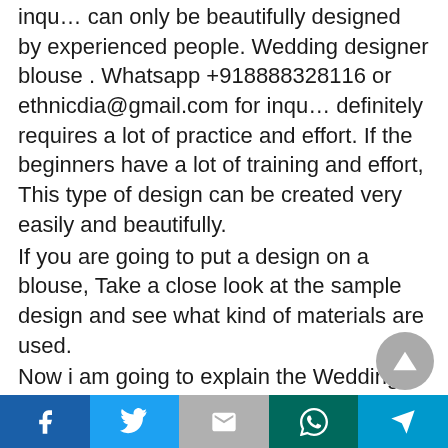inqu… can only be beautifully designed by experienced people. Wedding designer blouse . Whatsapp +918888328116 or ethnicdia@gmail.com for inqu… definitely requires a lot of practice and effort. If the beginners have a lot of training and effort, This type of design can be created very easily and beautifully.
If you are going to put a design on a blouse, Take a close look at the sample design and see what kind of materials are used.
Now i am going to explain the Wedding designer blouse . Whatsapp +918888328116 or ethnicdia@gmail.com for inqu…, Please see the image Above
Facebook | Twitter | Gmail | WhatsApp | Send